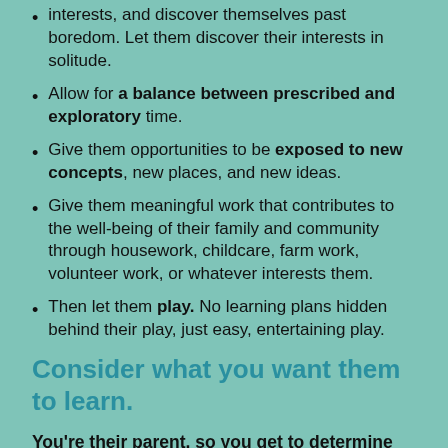interests, and discover themselves past boredom. Let them discover their interests in solitude.
Allow for a balance between prescribed and exploratory time.
Give them opportunities to be exposed to new concepts, new places, and new ideas.
Give them meaningful work that contributes to the well-being of their family and community through housework, childcare, farm work, volunteer work, or whatever interests them.
Then let them play. No learning plans hidden behind their play, just easy, entertaining play.
Consider what you want them to learn.
You're their parent, so you get to determine what you want them to learn too.